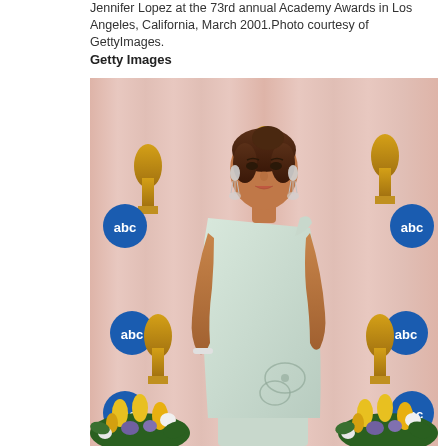Jennifer Lopez at the 73rd annual Academy Awards in Los Angeles, California, March 2001.Photo courtesy of GettyImages.
Getty Images
[Figure (photo): Jennifer Lopez posing at the 73rd annual Academy Awards in Los Angeles, California, March 2001. She is wearing a light mint green one-shoulder gown with floral embroidery at the hem, large chandelier earrings, and a bracelet. She stands in front of a pink curtained backdrop with gold Oscar statuette props and ABC network logos. Yellow tulips and other colorful flowers are arranged at the base.]